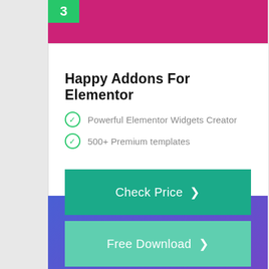Happy Addons For Elementor
Powerful Elementor Widgets Creator
500+ Premium templates
Check Price >
Free Download >
[Figure (other): Pink header bar with green number badge showing '3']
[Figure (other): Purple/blue gradient bottom section]